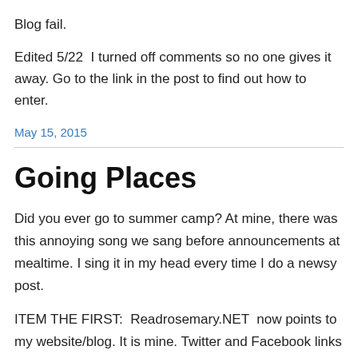Blog fail.
Edited 5/22  I turned off comments so no one gives it away. Go to the link in the post to find out how to enter.
May 15, 2015
Going Places
Did you ever go to summer camp? At mine, there was this annoying song we sang before announcements at mealtime. I sing it in my head every time I do a newsy post.
ITEM THE FIRST:  Readrosemary.NET  now points to my website/blog. It is mine. Twitter and Facebook links should